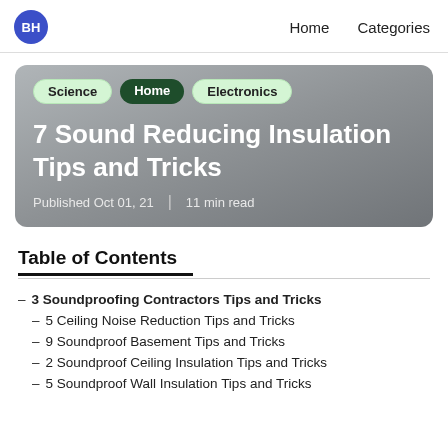BH  Home  Categories
[Figure (other): Hero card with gradient background containing category tags (Science, Home, Electronics), article title, and publication metadata]
7 Sound Reducing Insulation Tips and Tricks
Published Oct 01, 21  |  11 min read
Table of Contents
3 Soundproofing Contractors Tips and Tricks
5 Ceiling Noise Reduction Tips and Tricks
9 Soundproof Basement Tips and Tricks
2 Soundproof Ceiling Insulation Tips and Tricks
5 Soundproof Wall Insulation Tips and Tricks